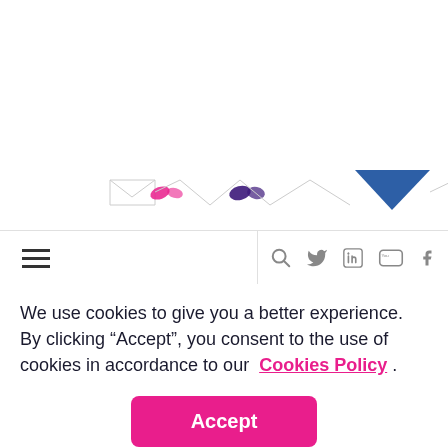[Figure (illustration): Website header/banner area with decorative butterfly and envelope icon elements in pink, purple, blue, and grey colors arranged horizontally]
[Figure (illustration): Navigation bar with hamburger menu icon on left, search icon, Twitter, LinkedIn, YouTube, and Facebook social media icons on right]
We use cookies to give you a better experience. By clicking “Accept”, you consent to the use of cookies in accordance to our Cookies Policy .
[Figure (other): Pink Accept button for cookie consent]